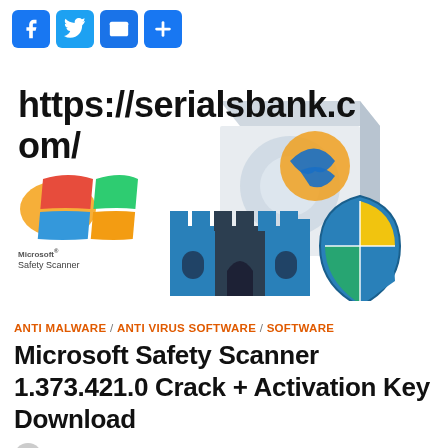[Figure (other): Social sharing buttons: Facebook, Twitter, Email, Share Plus]
[Figure (screenshot): Microsoft Safety Scanner software box art with Windows logo, castle/fortress icon, shield with Windows logo, and watermark URL https://serialsbank.com/ overlaid in large bold text]
ANTI MALWARE / ANTI VIRUS SOFTWARE / SOFTWARE
Microsoft Safety Scanner 1.373.421.0 Crack + Activation Key Download
by serials bank  28/08/2022  1